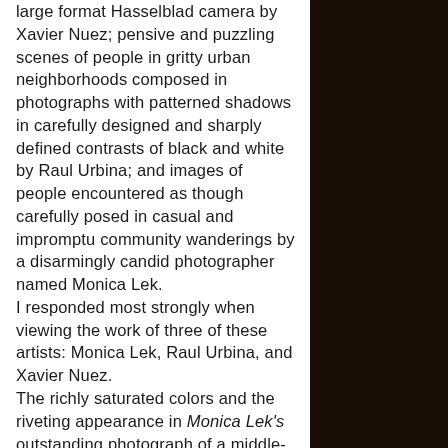large format Hasselblad camera by Xavier Nuez; pensive and puzzling scenes of people in gritty urban neighborhoods composed in photographs with patterned shadows in carefully designed and sharply defined contrasts of black and white by Raul Urbina; and images of people encountered as though carefully posed in casual and impromptu community wanderings by a disarmingly candid photographer named Monica Lek. I responded most strongly when viewing the work of three of these artists: Monica Lek, Raul Urbina, and Xavier Nuez. The richly saturated colors and the riveting appearance in Monica Lek's outstanding photograph of a middle-aged woman seated on a bench in a densely planted and colorfully flowered spot in New York City's Brooklyn Botanic Garden and
[Figure (photo): Dark brown textured background occupying the right portion of the page, appearing to be a close-up of a rough organic surface.]